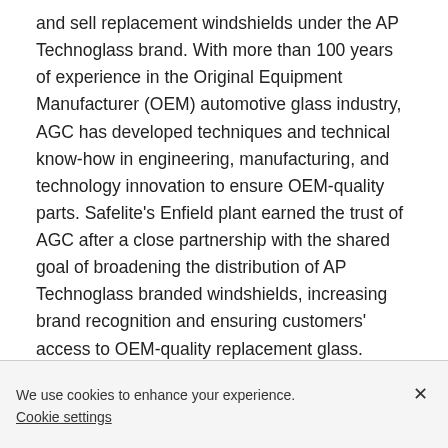and sell replacement windshields under the AP Technoglass brand. With more than 100 years of experience in the Original Equipment Manufacturer (OEM) automotive glass industry, AGC has developed techniques and technical know-how in engineering, manufacturing, and technology innovation to ensure OEM-quality parts. Safelite's Enfield plant earned the trust of AGC after a close partnership with the shared goal of broadening the distribution of AP Technoglass branded windshields, increasing brand recognition and ensuring customers' access to OEM-quality replacement glass.
Glover earned a Master's in Business Administration from the University of North Carolina and a Bachelor's of Science Civil Engineering from the University of Toledo where he was a quarterback for the Toledo Rockets. He also earned a
We use cookies to enhance your experience.
Cookie settings